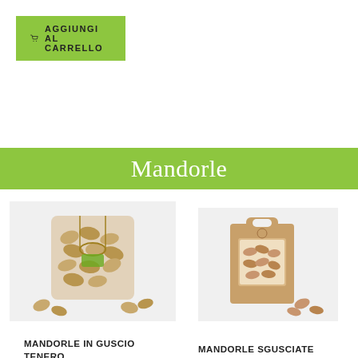[Figure (other): Add to cart button (green) with shopping cart icon and text AGGIUNGI AL CARRELLO]
Mandorle
[Figure (photo): Photo of almonds in shell in a transparent bag tied with raffia ribbon, displayed on white background]
[Figure (photo): Photo of a brown kraft paper gift box with handle and window showing shelled almonds inside, displayed on white background]
MANDORLE IN GUSCIO TENERO
MANDORLE SGUSCIATE